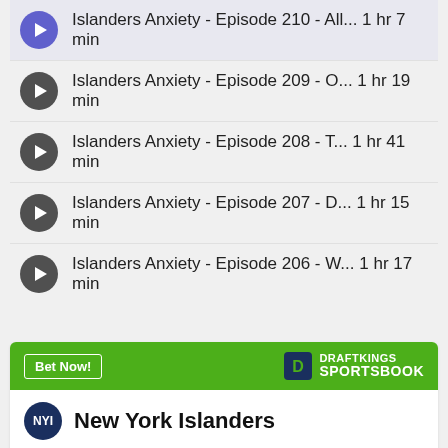Islanders Anxiety - Episode 210 - All... 1 hr 7 min
Islanders Anxiety - Episode 209 - O... 1 hr 19 min
Islanders Anxiety - Episode 208 - T... 1 hr 41 min
Islanders Anxiety - Episode 207 - D... 1 hr 15 min
Islanders Anxiety - Episode 206 - W... 1 hr 17 min
[Figure (infographic): DraftKings Sportsbook widget showing New York Islanders odds to win the Stanley Cup at +4000, with a green header containing Bet Now button and DraftKings Sportsbook logo.]